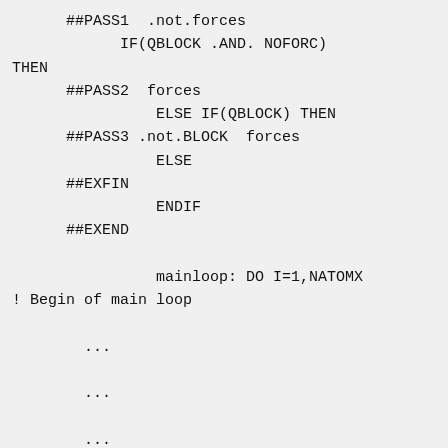##PASS1  .not.forces
            IF(QBLOCK .AND. NOFORC) THEN
      ##PASS2  forces
                ELSE IF(QBLOCK) THEN
      ##PASS3 .not.BLOCK  forces
                ELSE
      ##EXFIN
                ENDIF
      ##EXEND

                mainloop: DO I=1,NATOMX
! Begin of main loop

        ...

        ...

        ...

                frcloop: IF (.NOT. NOFORC) THEN     !##B